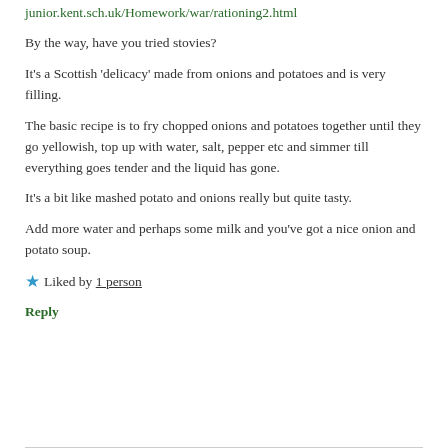junior.kent.sch.uk/Homework/war/rationing2.html
By the way, have you tried stovies?
It’s a Scottish ‘delicacy’ made from onions and potatoes and is very filling.
The basic recipe is to fry chopped onions and potatoes together until they go yellowish, top up with water, salt, pepper etc and simmer till everything goes tender and the liquid has gone.
It’s a bit like mashed potato and onions really but quite tasty.
Add more water and perhaps some milk and you’ve got a nice onion and potato soup.
★ Liked by 1 person
Reply